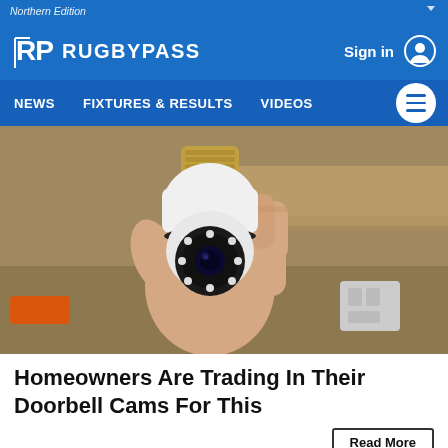Northern Edition
RUGBYPASS | Sign in
NEWS   FIXTURES & RESULTS   VIDEOS
[Figure (photo): A hand holding a white security camera shaped like a light bulb with a screw base at the top, featuring LED lights around a central lens. The background shows cardboard boxes and an electrical outlet.]
Homeowners Are Trading In Their Doorbell Cams For This
Read More